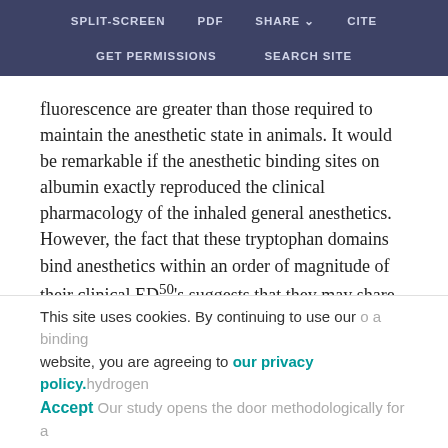SPLIT-SCREEN   PDF   SHARE   CITE   GET PERMISSIONS   SEARCH SITE
fluorescence are greater than those required to maintain the anesthetic state in animals. It would be remarkable if the anesthetic binding sites on albumin exactly reproduced the clinical pharmacology of the inhaled general anesthetics. However, the fact that these tryptophan domains bind anesthetics within an order of magnitude of their clinical ED50's suggests that they may share some characteristics with the physiologically relevant sites. Although this was not the primary goal of the work, this is a satisfactory first approximation, because
This site uses cookies. By continuing to use our website, you are agreeing to our privacy policy. Accept Our study opens the door methodologically for a